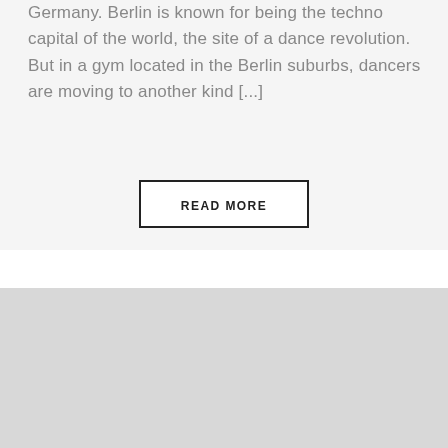Germany. Berlin is known for being the techno capital of the world, the site of a dance revolution. But in a gym located in the Berlin suburbs, dancers are moving to another kind [...]
READ MORE
By continuing to use the site, you agree to the use of cookies. more information
Accept